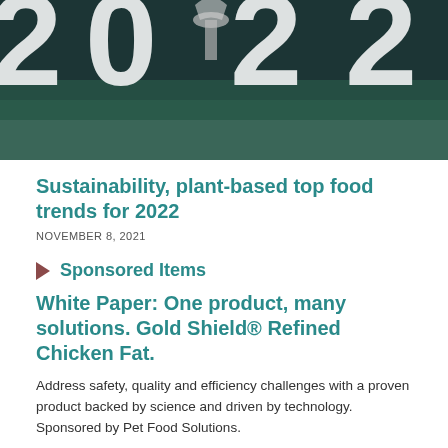[Figure (photo): Dark teal/green background with large white numerals '2022' partially visible at top, similar to a sports field or turf texture. A trophy or cup silhouette visible in the center.]
Sustainability, plant-based top food trends for 2022
NOVEMBER 8, 2021
Sponsored Items
White Paper: One product, many solutions. Gold Shield® Refined Chicken Fat.
Address safety, quality and efficiency challenges with a proven product backed by science and driven by technology. Sponsored by Pet Food Solutions.